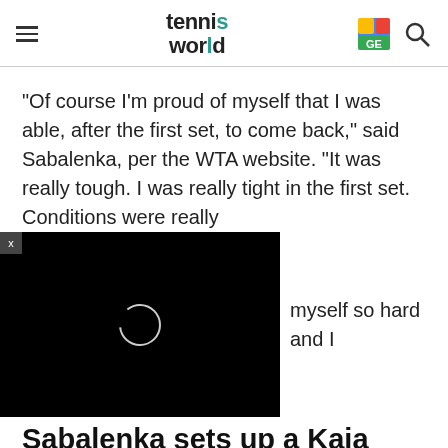tennis world
"Of course I'm proud of myself that I was able, after the first set, to come back," said Sabalenka, per the WTA website. "It was really tough. I was really tight in the first set. Conditions were really [hard on] myself so hard and I
[Figure (screenshot): Black video player overlay with loading spinner circle in center, with X close button in top-left corner]
Sabalenka sets up a Kaia Kanepi clash
However, despite Sabalenka's...